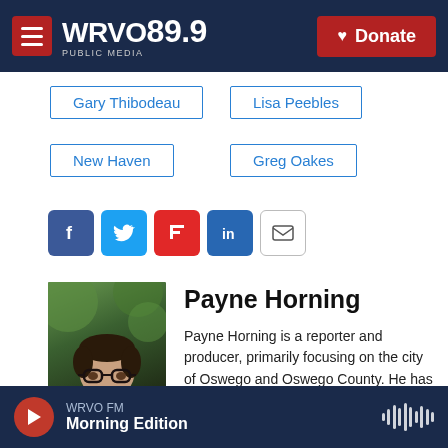WRVO PUBLIC MEDIA 89.9 | Donate
Gary Thibodeau
Lisa Peebles
New Haven
Greg Oakes
[Figure (infographic): Social sharing icons: Facebook, Twitter, Flipboard, LinkedIn, Email]
[Figure (photo): Photo of Payne Horning, a man wearing glasses and a suit jacket, outdoors with green trees in background]
Payne Horning
Payne Horning is a reporter and producer, primarily focusing on the city of Oswego and Oswego County. He has a passion for covering local politics and how it impacts the lives of everyday citizens. Originally
WRVO FM | Morning Edition